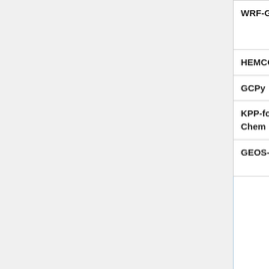| Name | Links | Description |
| --- | --- | --- |
| WRF-GC | wrf.geos-chem.org
wrfgc.readthedocs.io | GEOS-Chem coupled with WRF mode... |
| HEMCO | hemco.readthedocs.io | The Harmonized Emissions Component (HEMCO)... |
| GCPy | gcpy.readthedocs.io | The GEOS-Chem Python Toolkit... |
| KPP-for-GEOS-Chem | kpp.readthedocs.io | The Kinetic PreProcessor (KPP) customized for GEOS-Chem... |
| GEOS-Chem | GEOS-Chem Adjoint (wiki page) | The GEOS-Chem... |